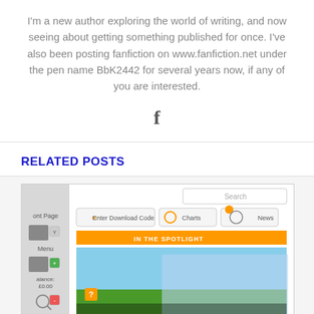I'm a new author exploring the world of writing, and now seeing about getting something published for once. I've also been posting fanfiction on www.fanfiction.net under the pen name BbK2442 for several years now, if any of you are interested.
[Figure (illustration): Facebook 'f' icon/logo in dark gray]
RELATED POSTS
[Figure (screenshot): Screenshot of what appears to be the Nintendo eShop website showing New Super Mario Bros. U in the spotlight section, with navigation buttons for Enter Download Code, Charts, and News.]